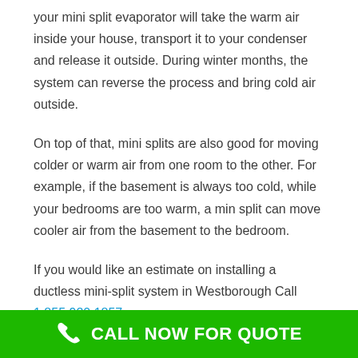your mini split evaporator will take the warm air inside your house, transport it to your condenser and release it outside. During winter months, the system can reverse the process and bring cold air outside.
On top of that, mini splits are also good for moving colder or warm air from one room to the other. For example, if the basement is always too cold, while your bedrooms are too warm, a min split can move cooler air from the basement to the bedroom.
If you would like an estimate on installing a ductless mini-split system in Westborough Call 1.855.920.1857
Most Well-Known Brands of Ductless AC's
CALL NOW FOR QUOTE